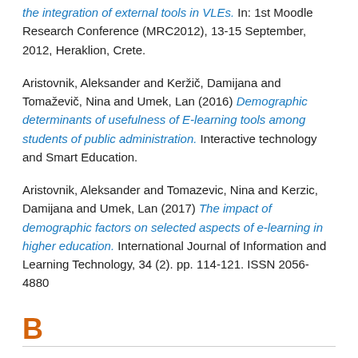the integration of external tools in VLEs. In: 1st Moodle Research Conference (MRC2012), 13-15 September, 2012, Heraklion, Crete.
Aristovnik, Aleksander and Keržič, Damijana and Tomaževič, Nina and Umek, Lan (2016) Demographic determinants of usefulness of E-learning tools among students of public administration. Interactive technology and Smart Education.
Aristovnik, Aleksander and Tomazevic, Nina and Kerzic, Damijana and Umek, Lan (2017) The impact of demographic factors on selected aspects of e-learning in higher education. International Journal of Information and Learning Technology, 34 (2). pp. 114-121. ISSN 2056-4880
B
Boloudakis, Michail and Katsamani, Mary and Retalis, Symeon and Georgiakakis, Petros (2012) CADMOS: A learning design tool for Moodle courses. In: 1st Moodle Research Conference